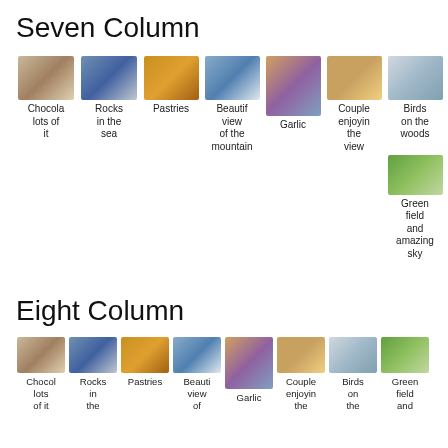Seven Column
[Figure (photo): Seven column photo grid with captions: Chocola lots of it, Rocks in the sea, Pastries, Beautif view of the mountain, Garlic, Couple enjoying the view, Birds on the woods, Green field and amazing sky]
Eight Column
[Figure (photo): Eight column photo grid with captions: Chocol lots of it, Rocks in the, Pastries, Beauti view of, Garlic, Couple enjoyin the, Birds on the, Green field and]